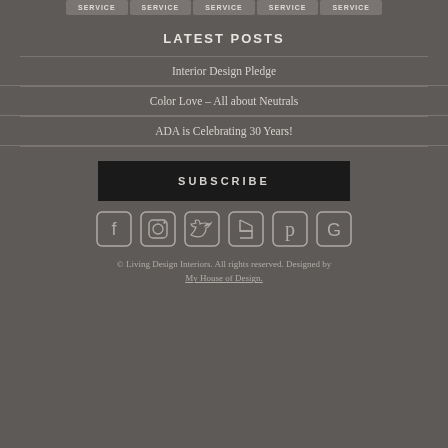SERVICE SERVICE SERVICE SERVICE SERVICE
LATEST POSTS
Interior Design Pledge
Color Love – All about Neutrals
ADA is Celebrating 30 Years!
SUBSCRIBE
[Figure (infographic): Six social media icons: Facebook, Instagram, Twitter, Houzz, Pinterest, Google]
© Living Design Interiors. All rights reserved. Designed by My House of Design.